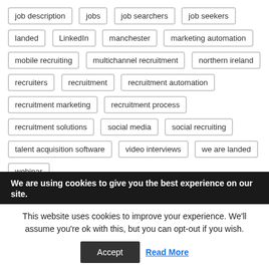job description
jobs
job searchers
job seekers
landed
LinkedIn
manchester
marketing automation
mobile recruiting
multichannel recruitment
northern ireland
recruiters
recruitment
recruitment automation
recruitment marketing
recruitment process
recruitment solutions
social media
social recruiting
talent acquisition software
video interviews
we are landed
webinar
We are using cookies to give you the best experience on our site.
This website uses cookies to improve your experience. We'll assume you're ok with this, but you can opt-out if you wish.
Accept
Read More